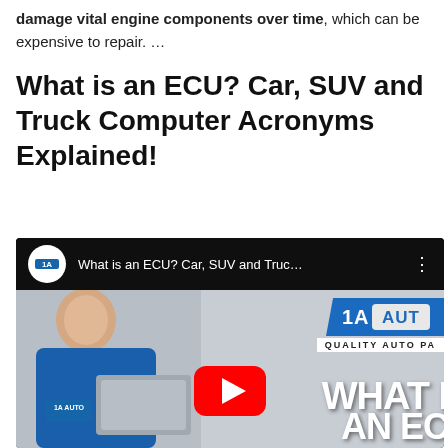damage vital engine components over time, which can be expensive to repair. …
What is an ECU? Car, SUV and Truck Computer Acronyms Explained!
[Figure (screenshot): YouTube video embed showing '1A Auto' channel with video titled 'What is an ECU? Car, SUV and Truc...' Thumbnail shows a man in a blue 1A Auto shirt holding a car part, with 1A AUTO logo top right, 'WHAT' and 'AN EC' text overlaid, and a YouTube play button in the center.]